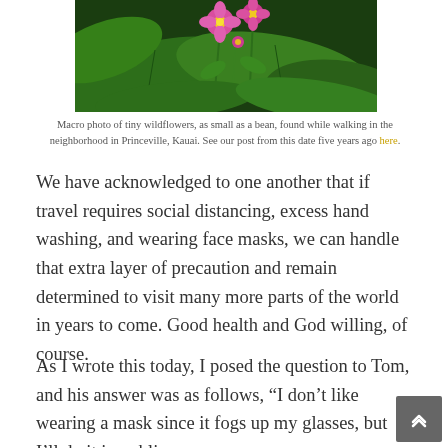[Figure (photo): Macro photo of tiny pink wildflowers against dark green leaves, taken in Princeville, Kauai]
Macro photo of tiny wildflowers, as small as a bean, found while walking in the neighborhood in Princeville, Kauai. See our post from this date five years ago here.
We have acknowledged to one another that if travel requires social distancing, excess hand washing, and wearing face masks, we can handle that extra layer of precaution and remain determined to visit many more parts of the world in years to come. Good health and God willing, of course.
As I wrote this today, I posed the question to Tom, and his answer was as follows, “I don’t like wearing a mask since it fogs up my glasses, but I’ll do it in public places. We do have a right to many parts of the time...